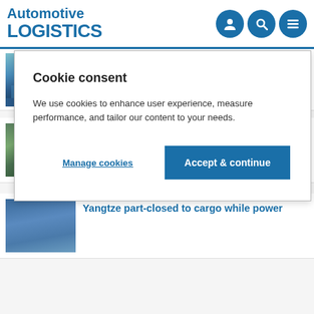Automotive LOGISTICS
Cookie consent
We use cookies to enhance user experience, measure performance, and tailor our content to your needs.
Manage cookies
Accept & continue
of sustainability drive
Factory closures extended in China as drought continues
Yangtze part-closed to cargo while power